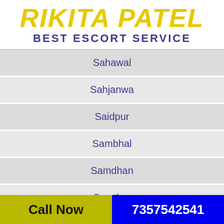RIKITA PATEL
BEST ESCORT SERVICE
Sahawal
Sahjanwa
Saidpur
Sambhal
Samdhan
Samthar
Sandi
Call Now   7357542541